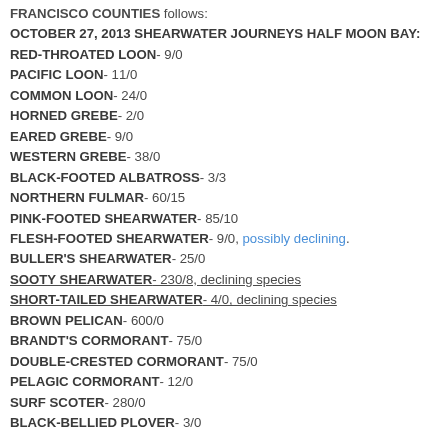…The complete species list for SAN MATEO/SAN FRANCISCO COUNTIES follows:
OCTOBER 27, 2013 SHEARWATER JOURNEYS HALF MOON BAY:
RED-THROATED LOON- 9/0
PACIFIC LOON- 11/0
COMMON LOON- 24/0
HORNED GREBE- 2/0
EARED GREBE- 9/0
WESTERN GREBE- 38/0
BLACK-FOOTED ALBATROSS- 3/3
NORTHERN FULMAR- 60/15
PINK-FOOTED SHEARWATER- 85/10
FLESH-FOOTED SHEARWATER- 9/0, possibly declining.
BULLER'S SHEARWATER- 25/0
SOOTY SHEARWATER- 230/8, declining species
SHORT-TAILED SHEARWATER- 4/0, declining species
BROWN PELICAN- 600/0
BRANDT'S CORMORANT- 75/0
DOUBLE-CRESTED CORMORANT- 75/0
PELAGIC CORMORANT- 12/0
SURF SCOTER- 280/0
BLACK-BELLIED PLOVER- 3/0